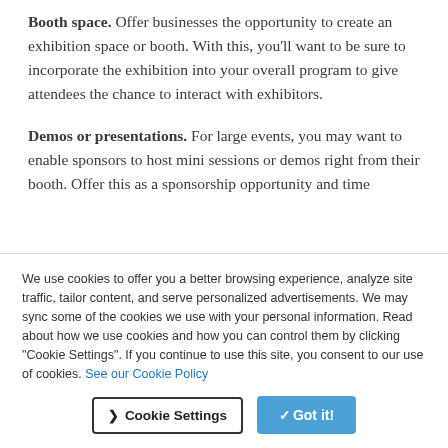Booth space. Offer businesses the opportunity to create an exhibition space or booth. With this, you'll want to be sure to incorporate the exhibition into your overall program to give attendees the chance to interact with exhibitors.
Demos or presentations. For large events, you may want to enable sponsors to host mini sessions or demos right from their booth. Offer this as a sponsorship opportunity and time slot into your overall program.
We use cookies to offer you a better browsing experience, analyze site traffic, tailor content, and serve personalized advertisements. We may sync some of the cookies we use with your personal information. Read about how we use cookies and how you can control them by clicking "Cookie Settings". If you continue to use this site, you consent to our use of cookies. See our Cookie Policy